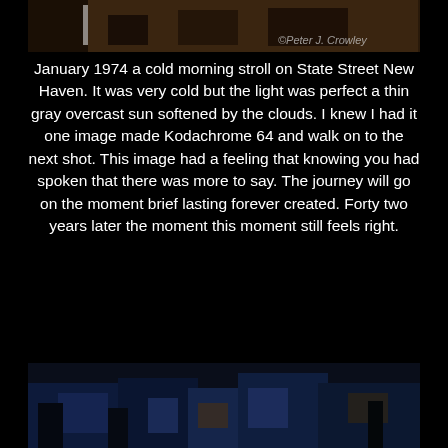[Figure (photo): Top partial photo showing a street scene with a watermark reading '©Peter J. Crowley' in the bottom right corner]
January 1974 a cold morning stroll on State Street New Haven. It was very cold but the light was perfect a thin gray overcast sun softened by the clouds. I knew I had it one image made Kodachrome 64 and walk on to the next shot. This image had a feeling that knowing you had spoken that there was more to say. The journey will go on the moment brief lasting forever created. Forty two years later the moment this moment still feels right.
[Figure (photo): Bottom partial photo showing a dark scene with blue tones, appears to be a crowd or street scene]